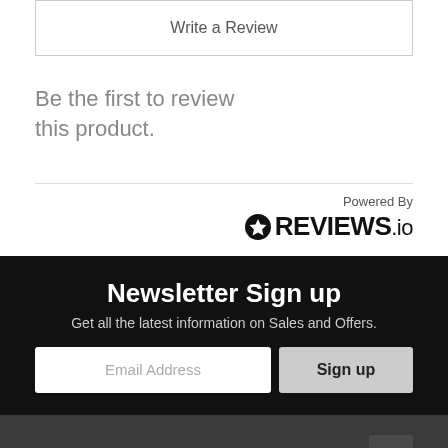Write a Review
Be the first to review this product.
[Figure (logo): Powered By REVIEWS.io logo with star icon]
Newsletter Sign up
Get all the latest information on Sales and Offers.
Email Address
Sign up
Categories